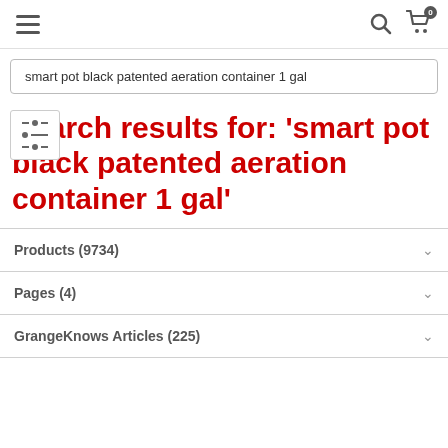Navigation bar with hamburger menu, search icon, and cart (0 items)
smart pot black patented aeration container 1 gal
Search results for: 'smart pot black patented aeration container 1 gal'
Products (9734)
Pages (4)
GrangeKnows Articles (225)